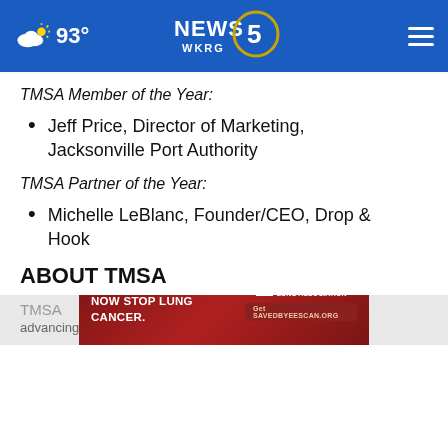NEWS 5 WKRG | 93°
TMSA Member of the Year:
Jeff Price, Director of Marketing, Jacksonville Port Authority
TMSA Partner of the Year:
Michelle LeBlanc, Founder/CEO, Drop & Hook
ABOUT TMSA
TMSA
advancing the success of marketing and sales